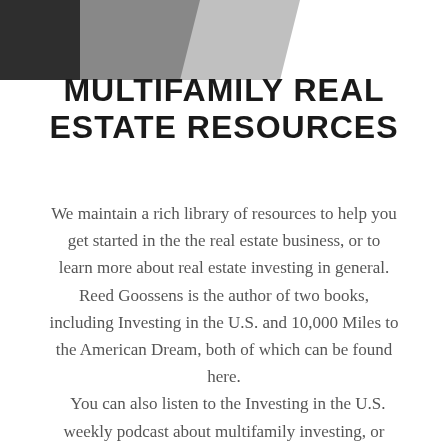MULTIFAMILY REAL ESTATE RESOURCES
We maintain a rich library of resources to help you get started in the the real estate business, or to learn more about real estate investing in general. Reed Goossens is the author of two books, including Investing in the U.S. and 10,000 Miles to the American Dream, both of which can be found here. You can also listen to the Investing in the U.S. weekly podcast about multifamily investing, or watch any of the great videos we've created to help you be successful in real estate investing.